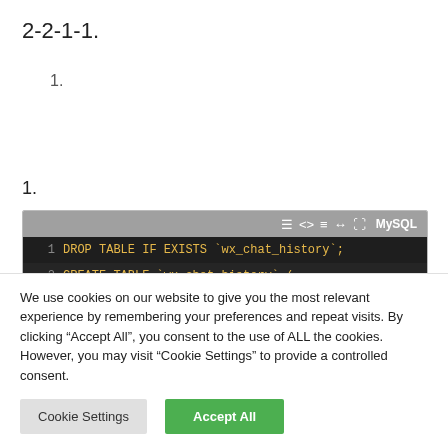2-2-1-1.
1.
1.
[Figure (screenshot): MySQL code editor screenshot showing SQL code: line 1: DROP TABLE IF EXISTS `wx_chat_history`;, line 2: CREATE TABLE `wx_chat_history` (, line 3: `id` BIGINT(20) NOT NULL AUTO_INCREMENT,, line 4: `group_id` int(9) UNSIGNED NOT NULL,]
We use cookies on our website to give you the most relevant experience by remembering your preferences and repeat visits. By clicking “Accept All”, you consent to the use of ALL the cookies. However, you may visit “Cookie Settings” to provide a controlled consent.